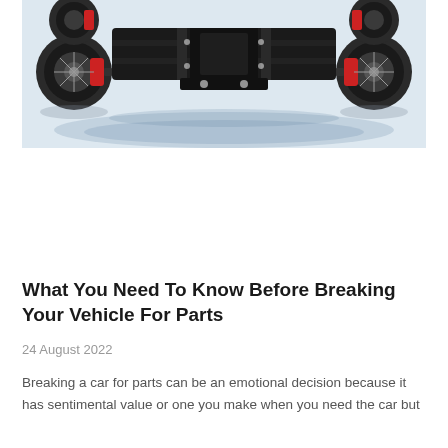[Figure (photo): Underside view of a car chassis/frame with four wheels visible from below, showing red brake calipers, axles, and suspension components. The vehicle is photographed from below against a light blue-white background with shadows visible on the ground.]
What You Need To Know Before Breaking Your Vehicle For Parts
24 August 2022
Breaking a car for parts can be an emotional decision because it has sentimental value or one you make when you need the car but